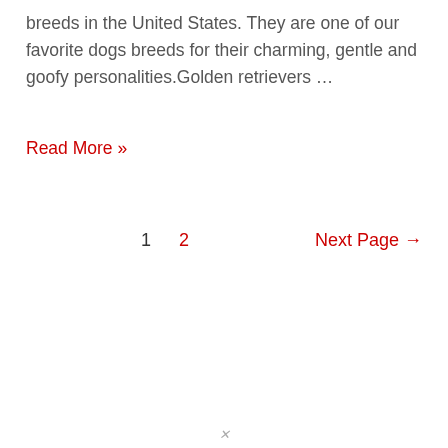breeds in the United States. They are one of our favorite dogs breeds for their charming, gentle and goofy personalities.Golden retrievers …
Read More »
1   2   Next Page →